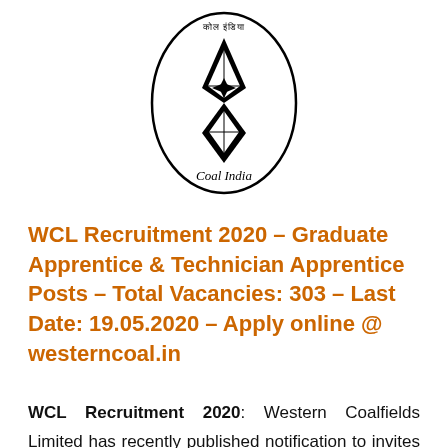[Figure (logo): Coal India logo — oval border with Hindi text at top, diamond/kite geometric shape in black and white at center, 'Coal India' text at bottom in serif font]
WCL Recruitment 2020 – Graduate Apprentice & Technician Apprentice Posts – Total Vacancies: 303 – Last Date: 19.05.2020 – Apply online @ westerncoal.in
WCL Recruitment 2020: Western Coalfields Limited has recently published notification to invites applications from eligible contenders for the position of Graduate/Technician Apprentice. According to the WCL